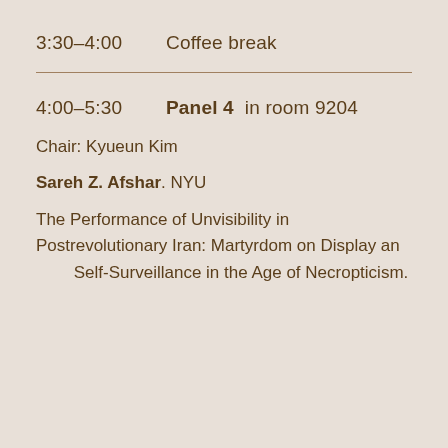3:30–4:00   Coffee break
4:00–5:30   Panel 4  in room 9204
Chair: Kyueun Kim
Sareh Z. Afshar. NYU
The Performance of Unvisibility in Postrevolutionary Iran: Martyrdom on Display an      Self-Surveillance in the Age of Necropticism.